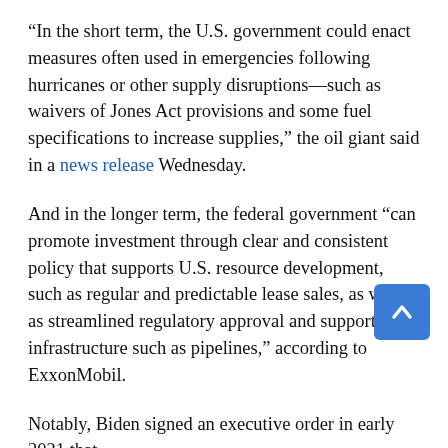“In the short term, the U.S. government could enact measures often used in emergencies following hurricanes or other supply disruptions—such as waivers of Jones Act provisions and some fuel specifications to increase supplies,” the oil giant said in a news release Wednesday.
And in the longer term, the federal government “can promote investment through clear and consistent policy that supports U.S. resource development, such as regular and predictable lease sales, as well as streamlined regulatory approval and support for infrastructure such as pipelines,” according to ExxonMobil.
Notably, Biden signed an executive order in early 2021 that...